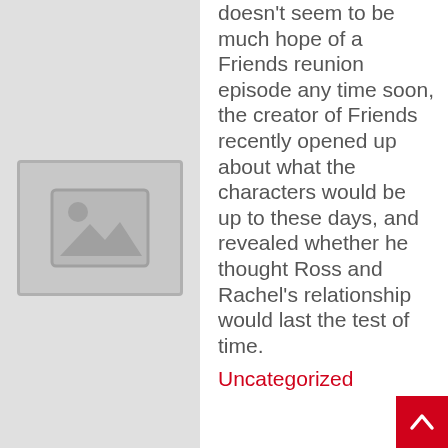[Figure (illustration): Image placeholder icon with a frame, circle, and mountain/landscape silhouette in gray]
doesn't seem to be much hope of a Friends reunion episode any time soon, the creator of Friends recently opened up about what the characters would be up to these days, and revealed whether he thought Ross and Rachel's relationship would last the test of time.
Uncategorized